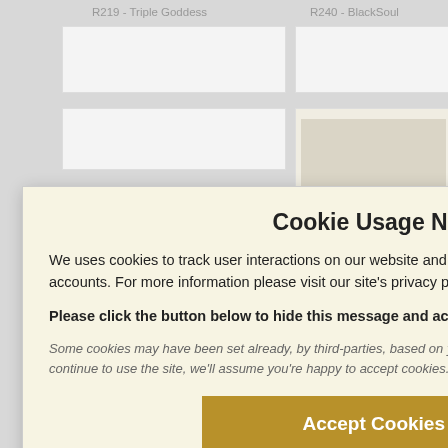R219 - Triple Goddess
R240 - BlackSoul
Cookie Usage Notice
We uses cookies to track user interactions on our website and to provide other key features such as user accounts. For more information please visit our site's privacy policy page.
Please click the button below to hide this message and accept our cookies.
Some cookies may have been set already, by third-parties, based on your web browser's privacy settings. If you continue to use the site, we'll assume you're happy to accept cookies.
Accept Cookies ✓
ddagh By Night